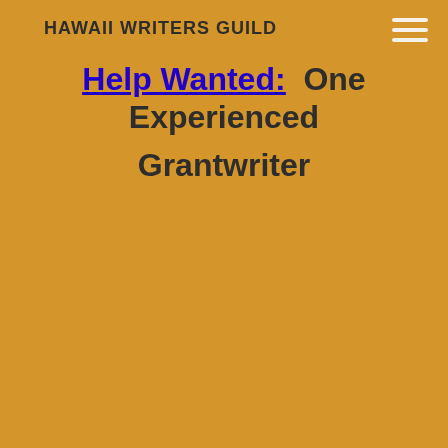HAWAII WRITERS GUILD
Help Wanted:  One Experienced Grantwriter